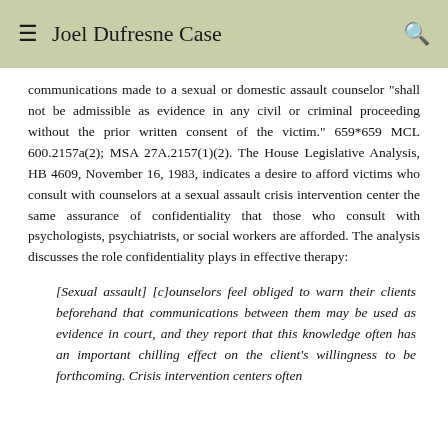Joel Dufresne Case
communications made to a sexual or domestic assault counselor "shall not be admissible as evidence in any civil or criminal proceeding without the prior written consent of the victim." 659*659 MCL 600.2157a(2); MSA 27A.2157(1)(2). The House Legislative Analysis, HB 4609, November 16, 1983, indicates a desire to afford victims who consult with counselors at a sexual assault crisis intervention center the same assurance of confidentiality that those who consult with psychologists, psychiatrists, or social workers are afforded. The analysis discusses the role confidentiality plays in effective therapy:
[Sexual assault] [c]ounselors feel obliged to warn their clients beforehand that communications between them may be used as evidence in court, and they report that this knowledge often has an important chilling effect on the client's willingness to be forthcoming. Crisis intervention centers often